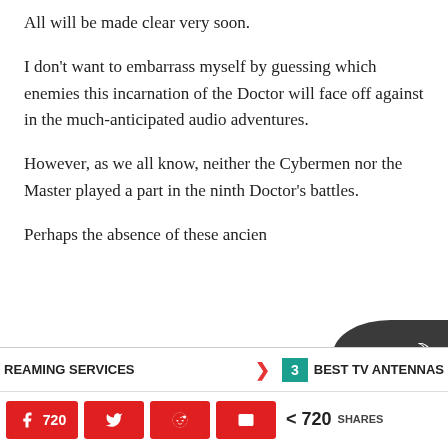All will be made clear very soon.
I don't want to embarrass myself by guessing which enemies this incarnation of the Doctor will face off against in the much-anticipated audio adventures.
However, as we all know, neither the Cybermen nor the Master played a part in the ninth Doctor's battles.
Perhaps the absence of these ancien...
REAMING SERVICES  >  3  BEST TV ANTENNAS  |  720 shares (Facebook, Twitter, Reddit, Email)